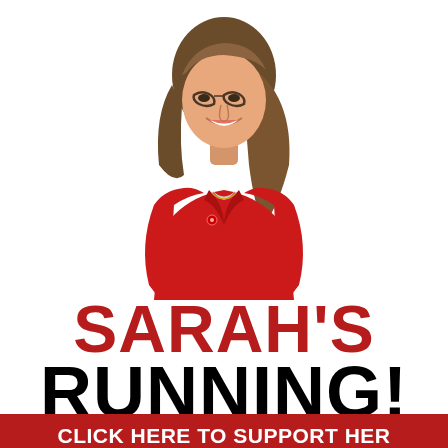[Figure (photo): Woman in red jacket smiling, wearing glasses, with brown hair, photographed from waist up against white background]
SARAH'S RUNNING!
CLICK HERE TO SUPPORT HER